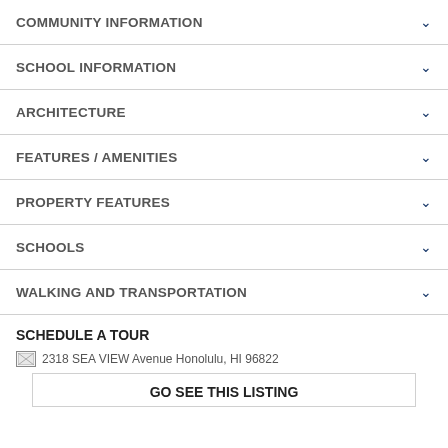COMMUNITY INFORMATION
SCHOOL INFORMATION
ARCHITECTURE
FEATURES / AMENITIES
PROPERTY FEATURES
SCHOOLS
WALKING AND TRANSPORTATION
SCHEDULE A TOUR
[Figure (other): Broken image placeholder for 2318 SEA VIEW Avenue Honolulu, HI 96822]
GO SEE THIS LISTING